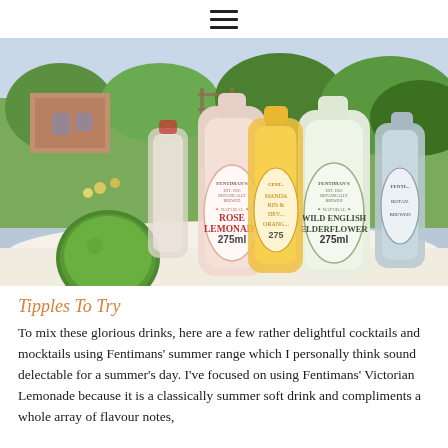≡
[Figure (photo): Fentiman's botanically brewed drinks bottles including Rose Lemonade and Wild English Elderflower 275ml bottles arranged on a table outdoors in a garden setting, with a lime fruit in the foreground.]
Tipples To Try
To mix these glorious drinks, here are a few rather delightful cocktails and mocktails using Fentimans' summer range which I personally think sound delectable for a summer's day. I've focused on using Fentimans' Victorian Lemonade because it is a classically summer soft drink and compliments a whole array of flavour notes,